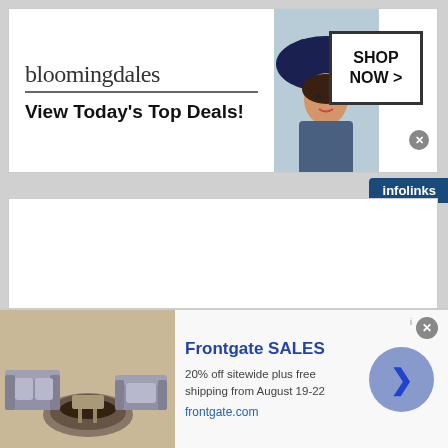[Figure (screenshot): Bloomingdales advertisement banner with logo, 'View Today's Top Deals!' tagline, woman in wide-brim hat photo, and 'SHOP NOW >' button]
[Figure (screenshot): Infolinks badge in top-right corner]
[Figure (screenshot): White main content area (blank/loading)]
[Figure (screenshot): Infolinks badge in bottom-left corner with scattered item images]
[Figure (screenshot): Frontgate SALES ad strip with outdoor furniture photo, '20% off sitewide plus free shipping from August 19-22', frontgate.com URL, and circular arrow button]